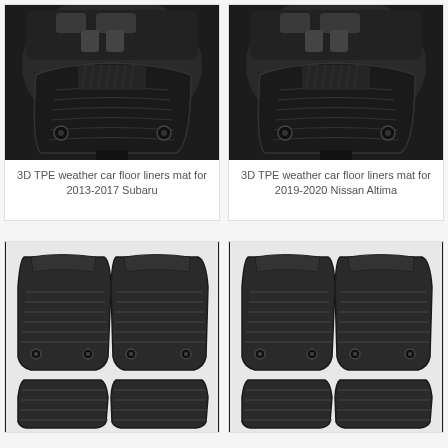[Figure (photo): 3D TPE weather car floor liner mat installed in car, showing black rubber mat with ribbed texture and anchor holes, driver side view]
3D TPE weather car floor liners mat for 2013-2017 Subaru
[Figure (photo): 3D TPE weather car floor liner mat installed in car, showing black rubber mat with ribbed texture and anchor holes, driver side view]
3D TPE weather car floor liners mat for 2019-2020 Nissan Altima
[Figure (photo): Set of 3D TPE weather car floor liner mats laid flat showing all pieces: two front mats, one rear mat, and cargo liner, black rubber]
[Figure (photo): Set of 3D TPE weather car floor liner mats laid flat showing all pieces: two front mats, one rear mat, and cargo liner, black rubber]